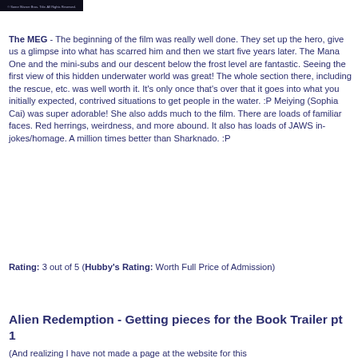[Figure (photo): Dark movie poster image, partially visible at top of page]
The MEG - The beginning of the film was really well done. They set up the hero, give us a glimpse into what has scarred him and then we start five years later. The Mana One and the mini-subs and our descent below the frost level are fantastic. Seeing the first view of this hidden underwater world was great! The whole section there, including the rescue, etc. was well worth it. It's only once that's over that it goes into what you initially expected, contrived situations to get people in the water. :P Meiying (Sophia Cai) was super adorable! She also adds much to the film. There are loads of familiar faces. Red herrings, weirdness, and more abound. It also has loads of JAWS in-jokes/homage. A million times better than Sharknado. :P
Rating: 3 out of 5 (Hubby's Rating: Worth Full Price of Admission)
Alien Redemption - Getting pieces for the Book Trailer pt 1
(And realizing I have not made a page at the website for this